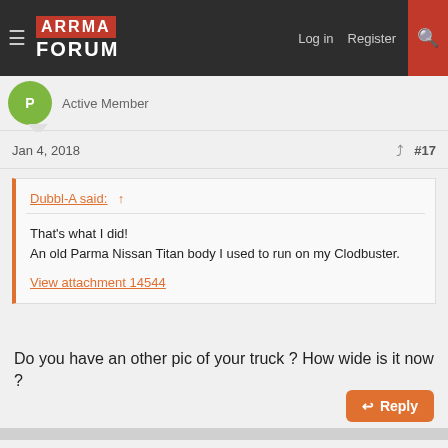ARRMA FORUM — Log in | Register
Active Member
Jan 4, 2018    #17
Dubbl-A said: ↑

That's what I did!
An old Parma Nissan Titan body I used to run on my Clodbuster.

View attachment 14544
Do you have an other pic of your truck ? How wide is it now ?
Reply
Dubbl-A
Well-Known Member